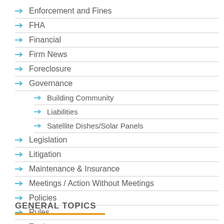Enforcement and Fines
FHA
Financial
Firm News
Foreclosure
Governance
Building Community
Liabilities
Satellite Dishes/Solar Panels
Legislation
Litigation
Maintenance & Insurance
Meetings / Action Without Meetings
Policies
Rules
Towing
GENERAL TOPICS